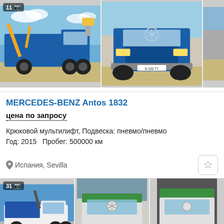[Figure (photo): Three truck photos in a row: blue Mercedes-Benz Antos with hook lift system, blue Mercedes-Benz Antos front view, partial third truck. Badge '11' with camera icon on first photo.]
MERCEDES-BENZ Antos 1832
цена по запросу
Крюковой мультилифт, Подвеска: пневмо/пневмо
Год: 2015   Пробег: 500000 км
Испания, Sevilla
[Figure (photo): Three truck photos in a row for second listing: white Mercedes-Benz truck with crane/tipper body (badge '31'), Mercedes-Benz Actros front view with green cover, third partial truck view.]